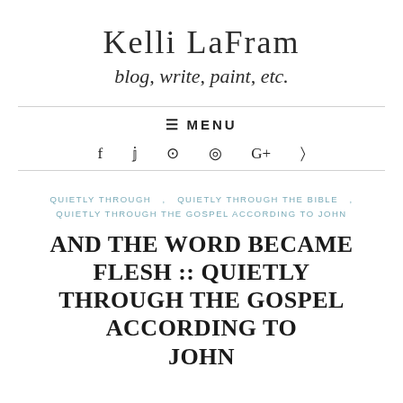Kelli LaFram
blog, write, paint, etc.
≡ MENU
f  ♥  ⊕  ◎  G+  )))
QUIETLY THROUGH , QUIETLY THROUGH THE BIBLE , QUIETLY THROUGH THE GOSPEL ACCORDING TO JOHN
AND THE WORD BECAME FLESH :: QUIETLY THROUGH THE GOSPEL ACCORDING TO JOHN